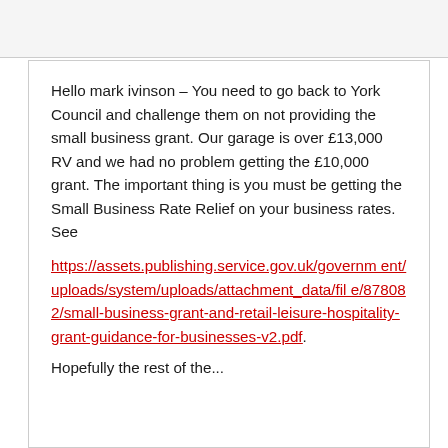Hello mark ivinson – You need to go back to York Council and challenge them on not providing the small business grant. Our garage is over £13,000 RV and we had no problem getting the £10,000 grant. The important thing is you must be getting the Small Business Rate Relief on your business rates. See https://assets.publishing.service.gov.uk/government/uploads/system/uploads/attachment_data/file/878082/small-business-grant-and-retail-leisure-hospitality-grant-guidance-for-businesses-v2.pdf.
Hopefully the rest of the text continues on next part...